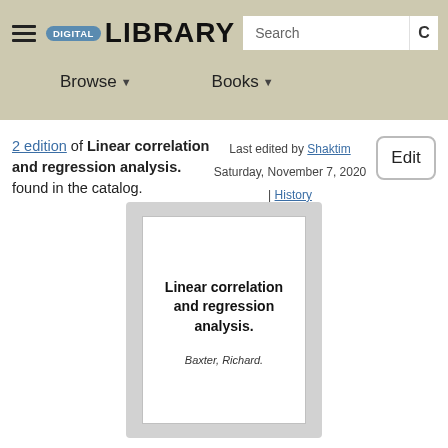DIGITAL LIBRARY | Search | Browse | Books
2 edition of Linear correlation and regression analysis. found in the catalog.
Last edited by Shaktin
Saturday, November 7, 2020 | History
Edit
[Figure (illustration): Book cover card showing title 'Linear correlation and regression analysis.' by Baxter, Richard.]